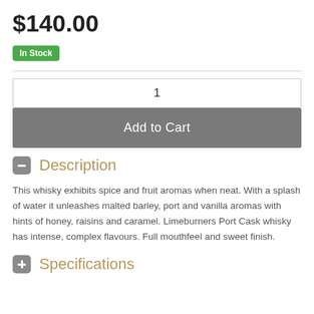$140.00
In Stock
1
Add to Cart
Description
This whisky exhibits spice and fruit aromas when neat. With a splash of water it unleashes malted barley, port and vanilla aromas with hints of honey, raisins and caramel. Limeburners Port Cask whisky has intense, complex flavours. Full mouthfeel and sweet finish.
Specifications